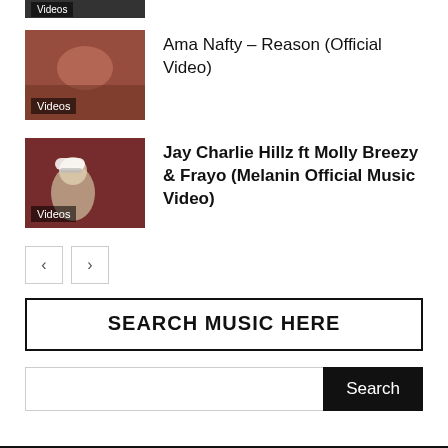[Figure (screenshot): Partially visible video thumbnail at top with Videos badge]
[Figure (photo): Video thumbnail for Ama Nafty Reason Official Video showing a person lying down, with Videos badge]
Ama Nafty – Reason (Official Video)
[Figure (photo): Video thumbnail for Jay Charlie Hillz ft Molly Breezy & Frayo Melanin Official Music Video showing a person in white cap and sunglasses, with Videos badge]
Jay Charlie Hillz ft Molly Breezy & Frayo (Melanin Official Music Video)
< >
SEARCH MUSIC HERE
Search